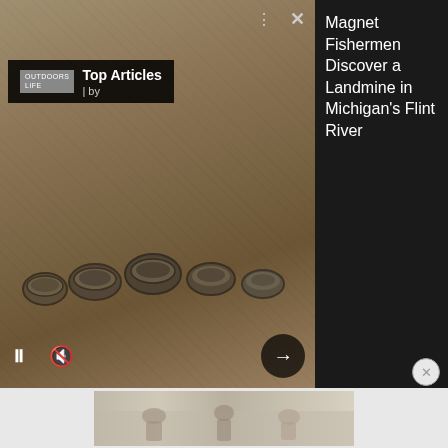[Figure (screenshot): Ad overlay showing an article about Magnet Fishermen Discovering a Landmine in Michigan's Flint River, with a photo of landmines in dirt on the left and headline text on dark background on the right, with Top Articles bar and media controls]
heavy buck that I've been waiting on showed up during a cold and wet hunt this past Wednesday.
After passing on several deer, I began to wonder why the massive-racked 9-pointer had suddenly disappeared. For a little while, I thought that maybe another hunter had already tagged my buck, because the outside hunting pressure had really picked up.
[Figure (photo): Partial bottom advertisement image showing people outdoors]